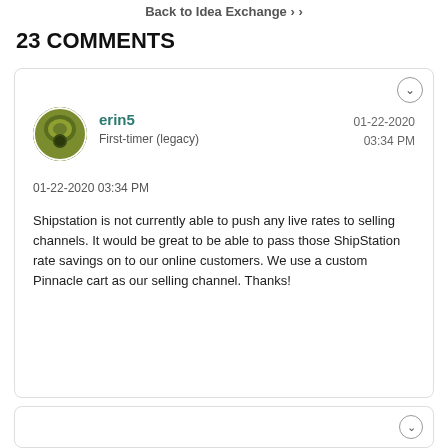Back to Idea Exchange
23 COMMENTS
erin5
First-timer (legacy)
01-22-2020
03:34 PM

01-22-2020 03:34 PM

Shipstation is not currently able to push any live rates to selling channels. It would be great to be able to pass those ShipStation rate savings on to our online customers. We use a custom Pinnacle cart as our selling channel. Thanks!